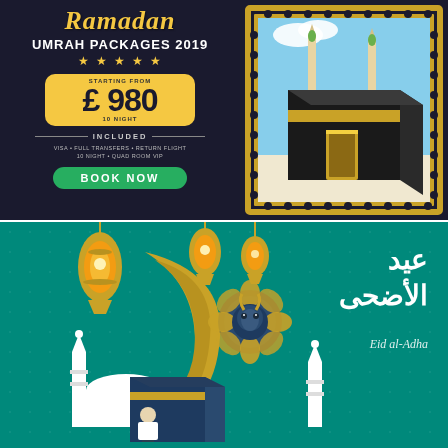[Figure (infographic): Ramadan Umrah Packages 2019 advertisement with dark navy background. Left side shows text: Ramadan (script), UMRAH PACKAGES 2019, five stars, yellow price box with STARTING FROM £980 10 NIGHT, INCLUDED section listing VISA • FULL TRANSFERS • RETURN FLIGHT 10 NIGHT • QUAD ROOM VIP, and a green BOOK NOW button. Right side shows an illustrated Kaaba (black cube) with golden borders in ornate Islamic geometric frame.]
[Figure (infographic): Eid al-Adha greeting card with teal/emerald green background. Left side features paper-cut style illustration: golden crescent moon, golden lanterns, white mosque minarets, a person praying at the Kaaba, and a goat/sheep ornament in the center. Right side has Arabic text عيد الأضحى and subtitle text Eid al-Adha in italic style.]